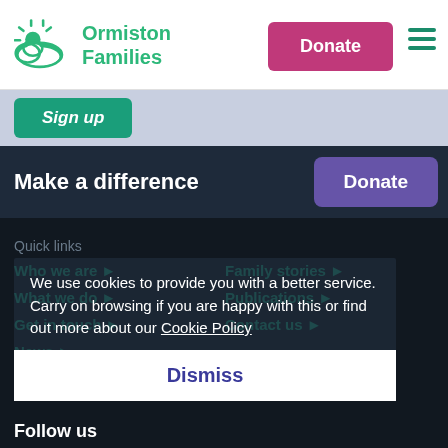[Figure (logo): Ormiston Families logo with sun and cloud in green]
Ormiston Families
Donate
Sign up
Make a difference
Donate
Quick links
Who we are ▶
Family stories ▶
What we do ▶
Publications ▶
Get in touch ▶
Contact us ▶
News ▶
We use cookies to provide you with a better service. Carry on browsing if you are happy with this or find out more about our Cookie Policy
Dismiss
Follow us